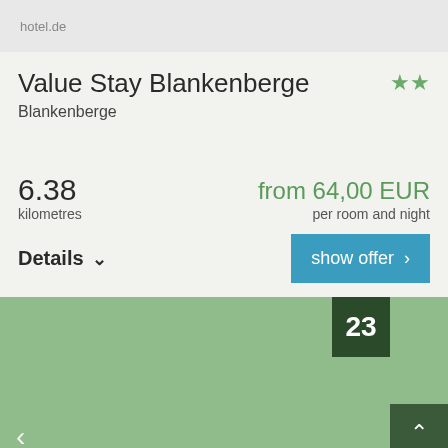hotel.de
Value Stay Blankenberge
Blankenberge
★★
6.38
kilometres
from 64,00 EUR
per room and night
Details ∨
show offer ›
23
‹
∧